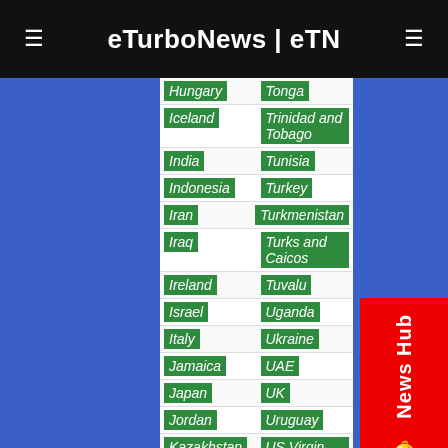eTurboNews | eTN
Hungary | Tonga
Iceland | Trinidad and Tobago
India | Tunisia
Indonesia | Turkey
Iran | Turkmenistan
Iraq | Turks and Caicos
Ireland | Tuvalu
Israel | Uganda
Italy | Ukraine
Jamaica | UAE
Japan | UK
Jordan | Uruguay
Kazakhstan | US Virgin Islands
Kenya | USA
Kiribati | Uzbekistan
Kosova | Vanuatu
Kuwait | Vatican